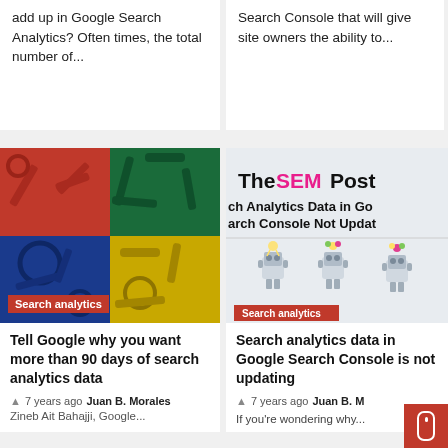add up in Google Search Analytics? Often times, the total number of...
Search Console that will give site owners the ability to...
[Figure (photo): Colorful tools image divided into quadrants of red, green, blue, and yellow with various wrenches and mechanical tools, labeled 'Search analytics']
Tell Google why you want more than 90 days of search analytics data
7 years ago  Juan B. Morales
Zineb Ait Bahajji, Google...
[Figure (screenshot): TheSEMPost logo and article preview showing 'Search Analytics Data in Google Search Console Not Updating' with robot illustrations, labeled 'Search analytics']
Search analytics data in Google Search Console is not updating
7 years ago  Juan B. Morales
If you're wondering why...